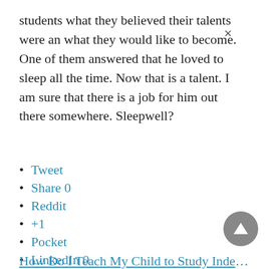students what they believed their talents were and what they would like to become. One of them answered that he loved to sleep all the time. Now that is a talent. I am sure that there is a job for him out there somewhere. Sleepwell?
Tweet
Share 0
Reddit
+1
Pocket
LinkedIn 0
How Do I Teach My Child to Study Independently